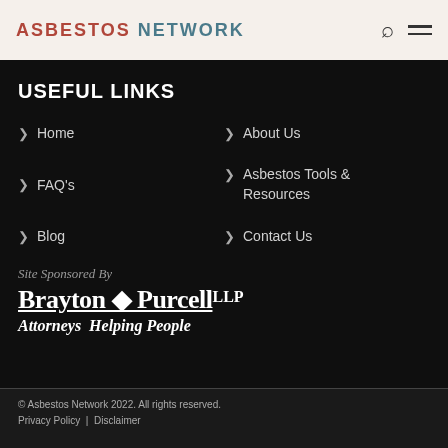ASBESTOS NETWORK
USEFUL LINKS
Home
About Us
FAQ's
Asbestos Tools & Resources
Blog
Contact Us
Site Sponsored By
Brayton ◆ Purcell LLP Attorneys Helping People
© Asbestos Network 2022. All rights reserved.  Privacy Policy  |  Disclaimer